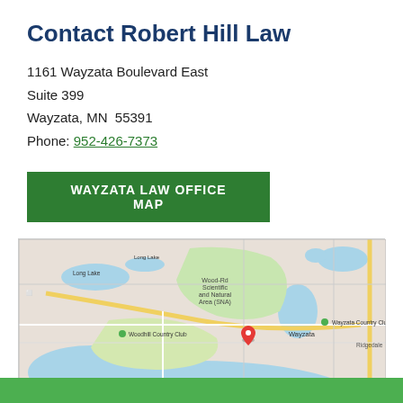Contact Robert Hill Law
1161 Wayzata Boulevard East
Suite 399
Wayzata, MN  55391
Phone: 952-426-7373
[Figure (other): Green button labeled WAYZATA LAW OFFICE MAP]
[Figure (map): Google Maps view centered on Wayzata, MN showing location pin for Robert Hill Law at 1161 Wayzata Boulevard East, Suite 399. Shows surrounding area including Long Lake, Wood-Rd Scientific and Natural Area (SNA), Wayzata Country Club, Woodhill Country Club, Minnetonka lake area, and Ridgedale to the east.]